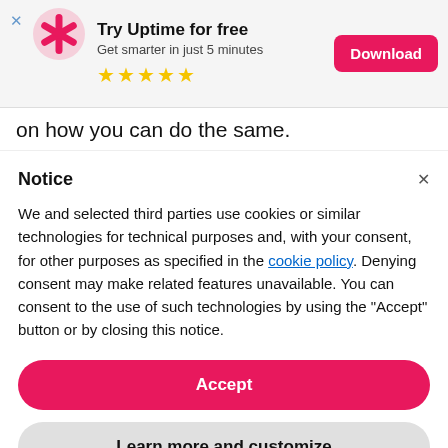[Figure (infographic): App download banner with close button, pink asterisk icon, title 'Try Uptime for free', subtitle 'Get smarter in just 5 minutes', five yellow stars, and pink Download button.]
on how you can do the same.
Notice
We and selected third parties use cookies or similar technologies for technical purposes and, with your consent, for other purposes as specified in the cookie policy. Denying consent may make related features unavailable. You can consent to the use of such technologies by using the "Accept" button or by closing this notice.
Accept
Learn more and customize